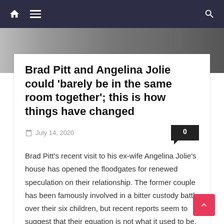Navigation bar with home, menu, and search icons
[Figure (photo): Background photo strip showing people, partially visible]
Brad Pitt and Angelina Jolie could 'barely be in the same room together'; this is how things have changed
July 14, 2020
Brad Pitt's recent visit to his ex-wife Angelina Jolie's house has opened the floodgates for renewed speculation on their relationship. The former couple has been famously involved in a bitter custody battle over their six children, but recent reports seem to suggest that their equation is not what it used to be. While a 2018 [...]
Continue Reading